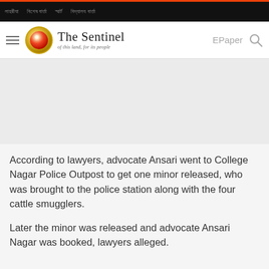[nav items in regional script] | The Sentinel of this land, for its people | EPaper
According to lawyers, advocate Ansari went to College Nagar Police Outpost to get one minor released, who was brought to the police station along with the four cattle smugglers.
Later the minor was released and advocate Ansari Nagar was booked, lawyers alleged.